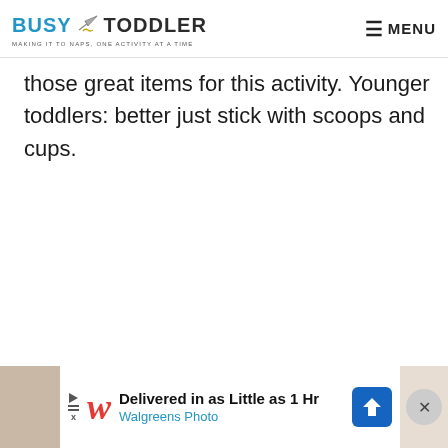BUSY TODDLER — MAKING IT TO NAPS, ONE ACTIVITY AT A TIME — MENU
those great items for this activity. Younger toddlers: better just stick with scoops and cups.
[Figure (screenshot): Walgreens Photo advertisement banner: 'Delivered in as Little as 1 Hr — Walgreens Photo']